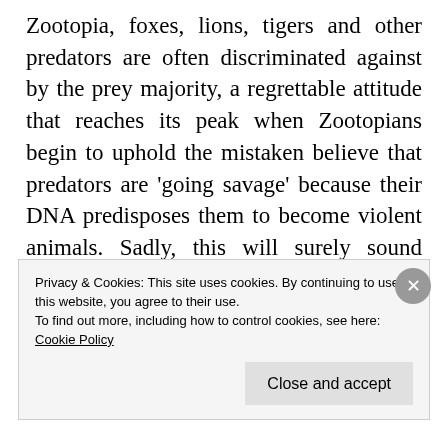Zootopia, foxes, lions, tigers and other predators are often discriminated against by the prey majority, a regrettable attitude that reaches its peak when Zootopians begin to uphold the mistaken believe that predators are 'going savage' because their DNA predisposes them to become violent animals. Sadly, this will surely sound familiar to millions of Americans who for centuries have been treated differently only because the majority
Privacy & Cookies: This site uses cookies. By continuing to use this website, you agree to their use.
To find out more, including how to control cookies, see here:
Cookie Policy
Close and accept